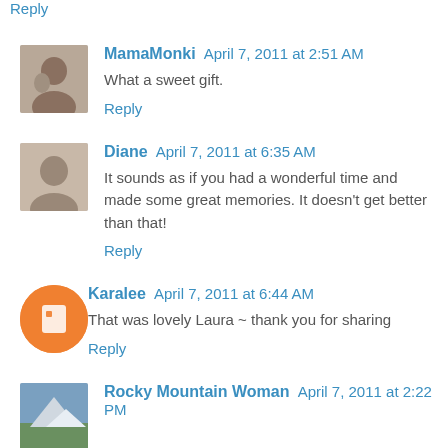Reply
MamaMonki April 7, 2011 at 2:51 AM
What a sweet gift.
Reply
Diane April 7, 2011 at 6:35 AM
It sounds as if you had a wonderful time and made some great memories. It doesn't get better than that!
Reply
Karalee April 7, 2011 at 6:44 AM
That was lovely Laura ~ thank you for sharing
Reply
Rocky Mountain Woman April 7, 2011 at 2:22 PM